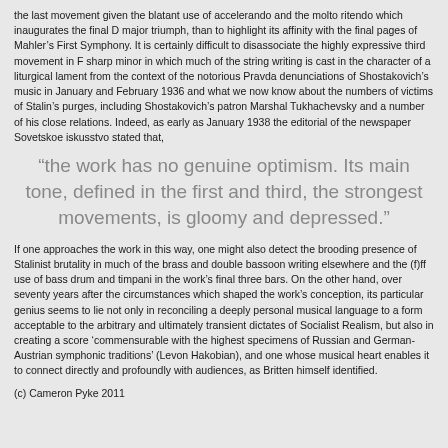the last movement given the blatant use of accelerando and the molto ritendo which inaugurates the final D major triumph, than to highlight its affinity with the final pages of Mahler's First Symphony. It is certainly difficult to disassociate the highly expressive third movement in F sharp minor in which much of the string writing is cast in the character of a liturgical lament from the context of the notorious Pravda denunciations of Shostakovich's music in January and February 1936 and what we now know about the numbers of victims of Stalin's purges, including Shostakovich's patron Marshal Tukhachevsky and a number of his close relations. Indeed, as early as January 1938 the editorial of the newspaper Sovetskoe iskusstvo stated that,
“the work has no genuine optimism. Its main tone, defined in the first and third, the strongest movements, is gloomy and depressed.”
If one approaches the work in this way, one might also detect the brooding presence of Stalinist brutality in much of the brass and double bassoon writing elsewhere and the (f)ff use of bass drum and timpani in the work’s final three bars. On the other hand, over seventy years after the circumstances which shaped the work’s conception, its particular genius seems to lie not only in reconciling a deeply personal musical language to a form acceptable to the arbitrary and ultimately transient dictates of Socialist Realism, but also in creating a score ‘commensurable with the highest specimens of Russian and German-Austrian symphonic traditions’ (Levon Hakobian), and one whose musical heart enables it to connect directly and profoundly with audiences, as Britten himself identified.
(c) Cameron Pyke 2011